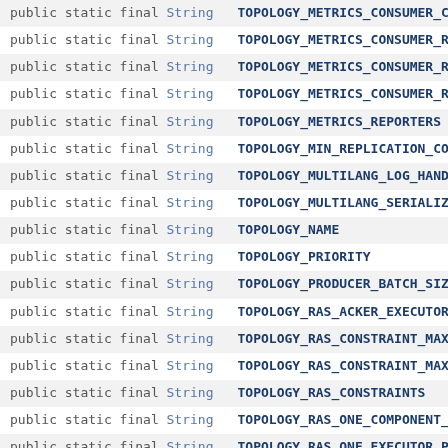| modifier | constant |
| --- | --- |
| public static final String | TOPOLOGY_METRICS_CONSUMER_CPU |
| public static final String | TOPOLOGY_METRICS_CONSUMER_REG… |
| public static final String | TOPOLOGY_METRICS_CONSUMER_RES… |
| public static final String | TOPOLOGY_METRICS_CONSUMER_RES… |
| public static final String | TOPOLOGY_METRICS_REPORTERS |
| public static final String | TOPOLOGY_MIN_REPLICATION_COUN… |
| public static final String | TOPOLOGY_MULTILANG_LOG_HANDLE… |
| public static final String | TOPOLOGY_MULTILANG_SERIALIZER |
| public static final String | TOPOLOGY_NAME |
| public static final String | TOPOLOGY_PRIORITY |
| public static final String | TOPOLOGY_PRODUCER_BATCH_SIZE |
| public static final String | TOPOLOGY_RAS_ACKER_EXECUTORS_… |
| public static final String | TOPOLOGY_RAS_CONSTRAINT_MAX_S… |
| public static final String | TOPOLOGY_RAS_CONSTRAINT_MAX_T… |
| public static final String | TOPOLOGY_RAS_CONSTRAINTS |
| public static final String | TOPOLOGY_RAS_ONE_COMPONENT_PE… |
| public static final String | TOPOLOGY_RAS_ONE_EXECUTOR_PER… |
| public static final String | TOPOLOGY_RAS_ORDER_EXECUTORS_… |
| public static final String | TOPOLOGY_READONLY_GROUPS |
| public static final String | TOPOLOGY_READONLY_USERS |
| public static final String | TOPOLOGY_SCHEDULER_FAVORED_NO… |
| public static final String | TOPOLOGY_SCHEDULER_STRATEGY |
| public static final String | TOPOLOGY_SCHEDULER_UNAVAILABL… |